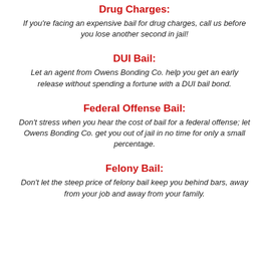Drug Charges:
If you're facing an expensive bail for drug charges, call us before you lose another second in jail!
DUI Bail:
Let an agent from Owens Bonding Co. help you get an early release without spending a fortune with a DUI bail bond.
Federal Offense Bail:
Don't stress when you hear the cost of bail for a federal offense; let Owens Bonding Co. get you out of jail in no time for only a small percentage.
Felony Bail:
Don't let the steep price of felony bail keep you behind bars, away from your job and away from your family.